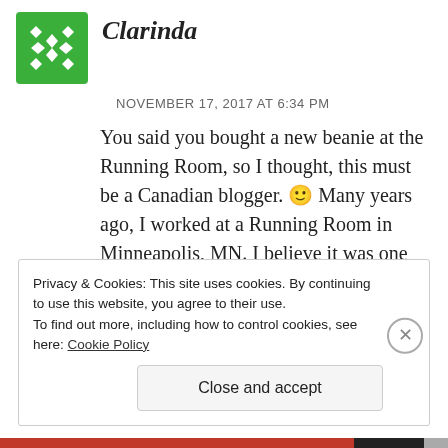[Figure (logo): Green snowflake/asterisk style avatar icon]
Clarinda
NOVEMBER 17, 2017 AT 6:34 PM
You said you bought a new beanie at the Running Room, so I thought, this must be a Canadian blogger. 🙂 Many years ago, I worked at a Running Room in Minneapolis, MN. I believe it was one of the first in the USA.
Anyway, happy anniversary! 10 years is a big deal. Glad you got to have some fun celebrating.
Privacy & Cookies: This site uses cookies. By continuing to use this website, you agree to their use.
To find out more, including how to control cookies, see here: Cookie Policy
Close and accept